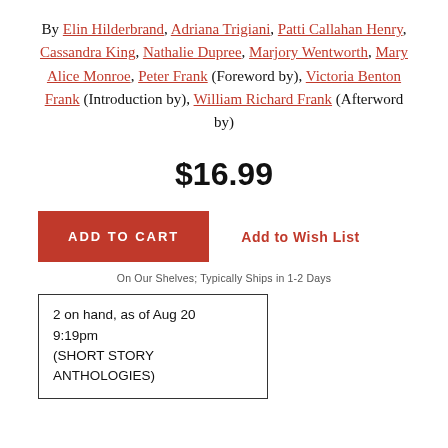By Elin Hilderbrand, Adriana Trigiani, Patti Callahan Henry, Cassandra King, Nathalie Dupree, Marjory Wentworth, Mary Alice Monroe, Peter Frank (Foreword by), Victoria Benton Frank (Introduction by), William Richard Frank (Afterword by)
$16.99
ADD TO CART
Add to Wish List
On Our Shelves; Typically Ships in 1-2 Days
2 on hand, as of Aug 20 9:19pm (SHORT STORY ANTHOLOGIES)